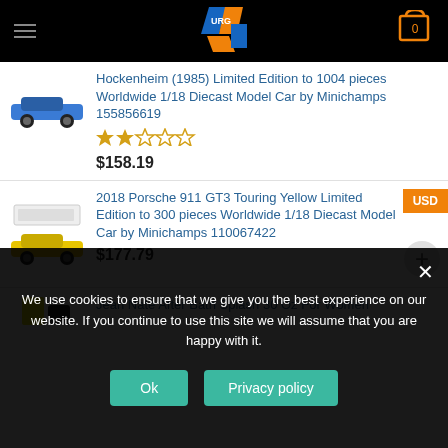URG store header with logo and cart
Hockenheim (1985) Limited Edition to 1004 pieces Worldwide 1/18 Diecast Model Car by Minichamps 155856619
$158.19
2018 Porsche 911 GT3 Touring Yellow Limited Edition to 300 pieces Worldwide 1/18 Diecast Model Car by Minichamps 110067422
$177.79
Jean Nate After Bath Splash 30 Oz For Women
We use cookies to ensure that we give you the best experience on our website. If you continue to use this site we will assume that you are happy with it.